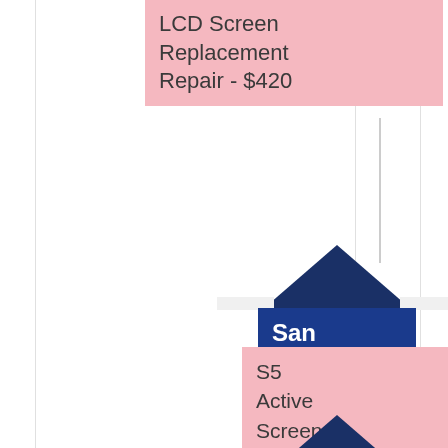[Figure (infographic): Flowchart-style infographic showing Samsung repair services with upward arrows in dark blue and pink label boxes. Top: LCD Screen Replacement Repair - $420. Middle arrow labeled 'Samsung S5 Active' with pink box below: S5 Active Screen Replacement Repair - $200. Bottom: another arrow partially visible labeled 'Samsung S5...'.]
LCD Screen Replacement Repair - $420
Samsung S5 Active
S5 Active Screen Replacement Repair - $200